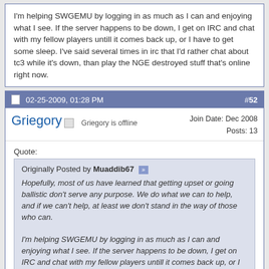I'm helping SWGEMU by logging in as much as I can and enjoying what I see. If the server happens to be down, I get on IRC and chat with my fellow players untill it comes back up, or I have to get some sleep. I've said several times in irc that I'd rather chat about tc3 while it's down, than play the NGE destroyed stuff that's online right now.
02-25-2009, 01:28 PM  #52
Griegory  Griegory is offline  Join Date: Dec 2008  Posts: 13
Quote:
Originally Posted by Muaddib67
Hopefully, most of us have learned that getting upset or going ballistic don't serve any purpose. We do what we can to help, and if we can't help, at least we don't stand in the way of those who can.

I'm helping SWGEMU by logging in as much as I can and enjoying what I see. If the server happens to be down, I get on IRC and chat with my fellow players untill it comes back up, or I have to get some sleep. I've said several times in irc that I'd rather chat about tc3 while it's down, than play the NGE destroyed stuff that's online right now.
That's your opionion and mine is i like both. There is some